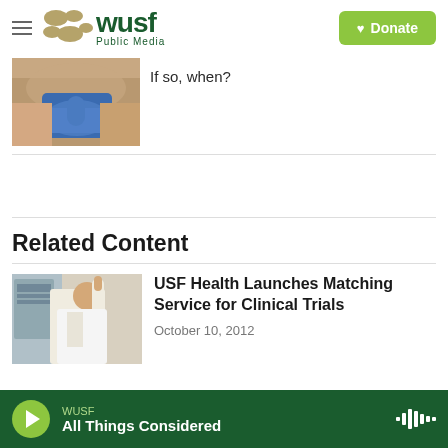[Figure (logo): WUSF Public Media logo with golden dots and green text, plus Donate button]
[Figure (photo): Close-up photo of a gloved hand (blue medical glove) touching skin, partial view]
If so, when?
Related Content
[Figure (photo): Photo of a healthcare worker in white lab coat reaching up to adjust medical equipment]
USF Health Launches Matching Service for Clinical Trials
October 10, 2012
WUSF All Things Considered